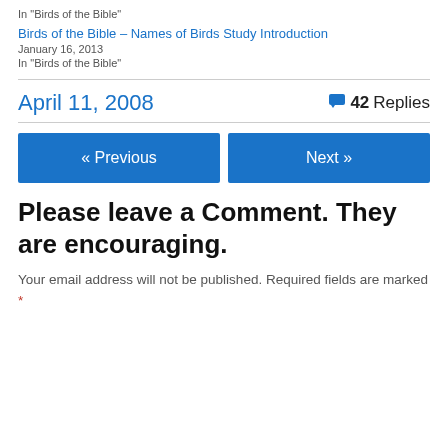In "Birds of the Bible"
Birds of the Bible – Names of Birds Study Introduction
January 16, 2013
In "Birds of the Bible"
April 11, 2008
42 Replies
« Previous
Next »
Please leave a Comment. They are encouraging.
Your email address will not be published. Required fields are marked *